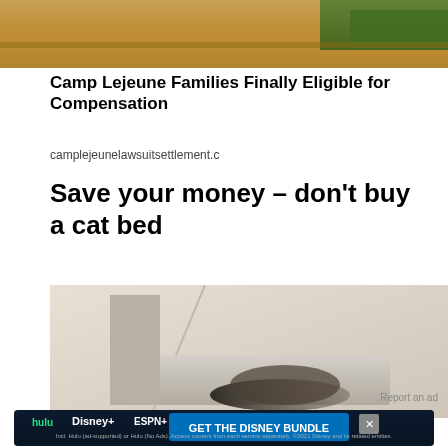[Figure (photo): Outdoor scene with dry grass and greenery, partial view, appears to be a sponsored ad image for Camp Lejeune lawsuit settlement]
Camp Lejeune Families Finally Eligible for Compensation
camplejeunelawsuitsettlement.c
Save your money – don't buy a cat bed
[Figure (photo): A cat sitting inside a cardboard box in a corner of a room with white walls]
Report an ad
[Figure (screenshot): Disney Bundle advertisement banner showing Hulu, Disney+, ESPN+ logos with text GET THE DISNEY BUNDLE. Incl. Hulu (ad-supported) or Hulu (No Ads). Access content from each service separately. ©2021 Disney and its related entities.]